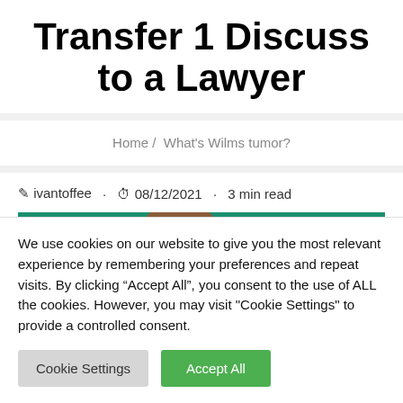Transfer 1 Discuss to a Lawyer
Home / What's Wilms tumor?
ivantoffee · 08/12/2021 · 3 min read
[Figure (illustration): Green background banner with a brown circle figure on the left and a beige box with two small circles on the right]
We use cookies on our website to give you the most relevant experience by remembering your preferences and repeat visits. By clicking "Accept All", you consent to the use of ALL the cookies. However, you may visit "Cookie Settings" to provide a controlled consent.
Cookie Settings | Accept All